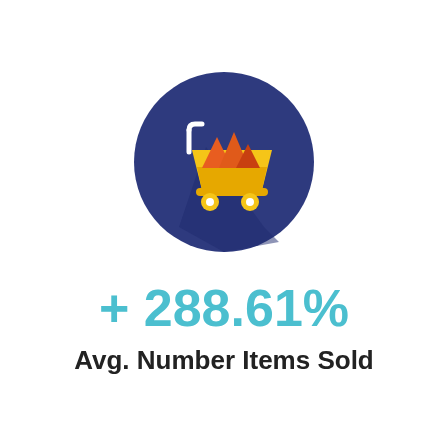[Figure (illustration): Shopping cart icon on a dark blue circular background. The cart is golden/yellow with colorful items (red, orange triangles) inside, styled as a flat design icon with a long shadow effect.]
+ 288.61%
Avg. Number Items Sold